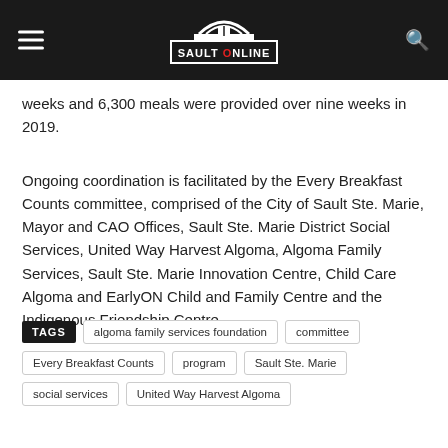SAULT ONLINE
weeks and 6,300 meals were provided over nine weeks in 2019.
Ongoing coordination is facilitated by the Every Breakfast Counts committee, comprised of the City of Sault Ste. Marie, Mayor and CAO Offices, Sault Ste. Marie District Social Services, United Way Harvest Algoma, Algoma Family Services, Sault Ste. Marie Innovation Centre, Child Care Algoma and EarlyON Child and Family Centre and the Indigenous Friendship Centre.
TAGS: algoma family services foundation | committee | Every Breakfast Counts | program | Sault Ste. Marie | social services | United Way Harvest Algoma